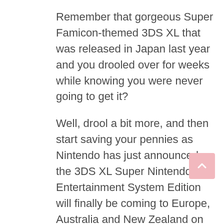Remember that gorgeous Super Famicon-themed 3DS XL that was released in Japan last year and you drooled over for weeks while knowing you were never going to get it?
Well, drool a bit more, and then start saving your pennies as Nintendo has just announced the 3DS XL Super Nintendo Entertainment System Edition will finally be coming to Europe, Australia and New Zealand on 13th October.
Yay! Another new 3DS model for you to choose from. How cool is that?
Three games will also be added to the Nintendo Selects line of 3DS titles in